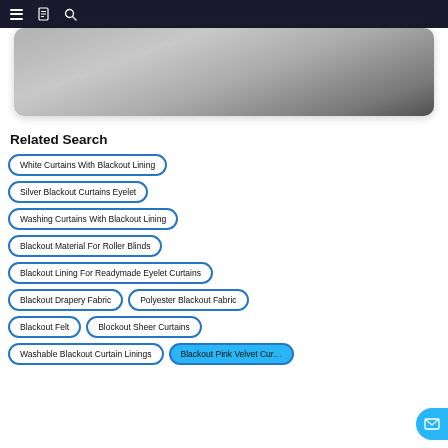[Figure (screenshot): Dark navigation bar with hamburger menu, book icon, and search icon]
[Figure (photo): Partial photo of fabric/textile closeup with a hand, displayed inside a rounded card]
Related Search
White Curtains With Blackout Lining
Silver Blackout Curtains Eyelet
Washing Curtains With Blackout Lining
Blackout Material For Roller Blinds
Blackout Lining For Readymade Eyelet Curtains
Blackout Drapery Fabric
Polyester Blackout Fabric
Blackout Felt
Blockout Sheer Curtains
Washable Blackout Curtain Linings
Blackout Pink Velvet Cur…